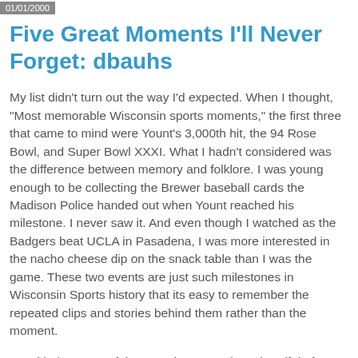01/01/2000
Five Great Moments I'll Never Forget: dbauhs
My list didn't turn out the way I'd expected. When I thought, "Most memorable Wisconsin sports moments," the first three that came to mind were Yount's 3,000th hit, the 94 Rose Bowl, and Super Bowl XXXI. What I hadn't considered was the difference between memory and folklore. I was young enough to be collecting the Brewer baseball cards the Madison Police handed out when Yount reached his milestone. I never saw it. And even though I watched as the Badgers beat UCLA in Pasadena, I was more interested in the nacho cheese dip on the snack table than I was the game. These two events are just such milestones in Wisconsin Sports history that its easy to remember the repeated clips and stories behind them rather than the moment.
So with those out of the way, there are also a handful of Packer games which I've attended, but as much fun as I had, the games themselves don't stick out as anything more than